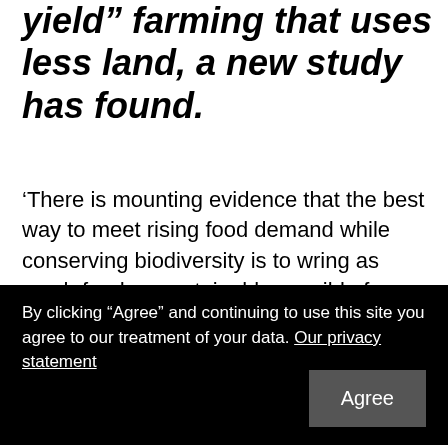yield" farming that uses less land, a new study has found.
'There is mounting evidence that the best way to meet rising food demand while conserving biodiversity is to wring as much food as sustainably possible from the land we do farm, so that more natural habitats can be “spared the plough”.
'However, this involves intensive farming techniques
necessarily the case.